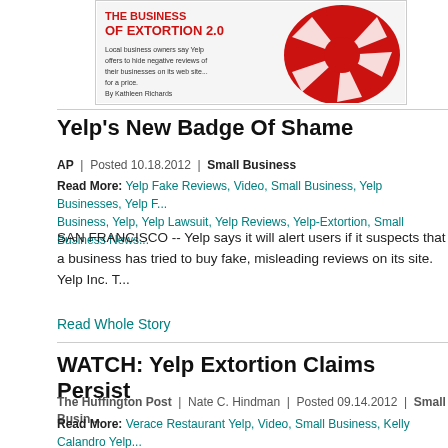[Figure (illustration): Magazine cover showing 'The Business of Extortion 2.0' article with red Yelp logo graphic. Text: Local business owners say Yelp offers to hide negative reviews of their businesses on its web site... for a price. By Kathleen Richards]
Yelp's New Badge Of Shame
AP | Posted 10.18.2012 | Small Business
Read More: Yelp Fake Reviews, Video, Small Business, Yelp Businesses, Yelp F... Business, Yelp, Yelp Lawsuit, Yelp Reviews, Yelp-Extortion, Small Business News...
SAN FRANCISCO -- Yelp says it will alert users if it suspects that a business has tried to buy fake, misleading reviews on its site. Yelp Inc. T...
Read Whole Story
WATCH: Yelp Extortion Claims Persist
The Huffington Post | Nate C. Hindman | Posted 09.14.2012 | Small Busin...
Read More: Verace Restaurant Yelp, Video, Small Business, Kelly Calandro Yelp... Calandro Yelp, Yelp, Yelp Lawsuit, Yelp Reviews, Kelly Calandro, Yelp Extortion, S...